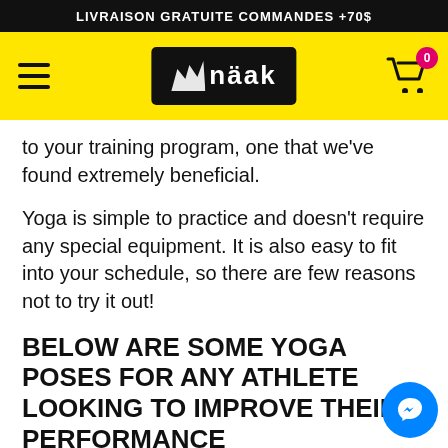LIVRAISON GRATUITE COMMANDES +70$
[Figure (logo): Näak brand logo on yellow navigation bar with hamburger menu and shopping cart icon showing 0 items]
to your training program, one that we've found extremely beneficial.
Yoga is simple to practice and doesn't require any special equipment. It is also easy to fit into your schedule, so there are few reasons not to try it out!
BELOW ARE SOME YOGA POSES FOR ANY ATHLETE LOOKING TO IMPROVE THEIR PERFORMANCE